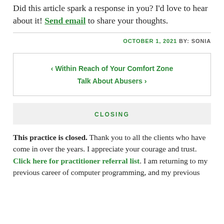Did this article spark a response in you? I'd love to hear about it! Send email to share your thoughts.
OCTOBER 1, 2021 BY: SONIA
‹ Within Reach of Your Comfort Zone
Talk About Abusers ›
CLOSING
This practice is closed. Thank you to all the clients who have come in over the years. I appreciate your courage and trust. Click here for practitioner referral list. I am returning to my previous career of computer programming, and my previous